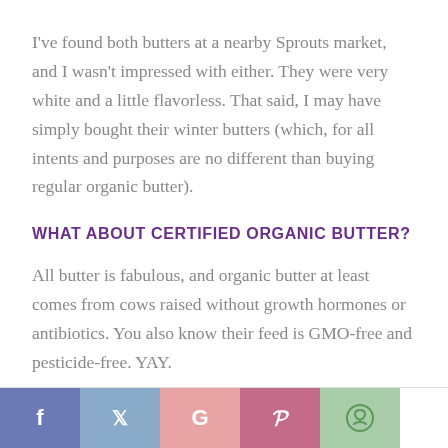I've found both butters at a nearby Sprouts market, and I wasn't impressed with either. They were very white and a little flavorless. That said, I may have simply bought their winter butters (which, for all intents and purposes are no different than buying regular organic butter).
WHAT ABOUT CERTIFIED ORGANIC BUTTER?
All butter is fabulous, and organic butter at least comes from cows raised without growth hormones or antibiotics. You also know their feed is GMO-free and pesticide-free. YAY.
f  t  G  P  ©